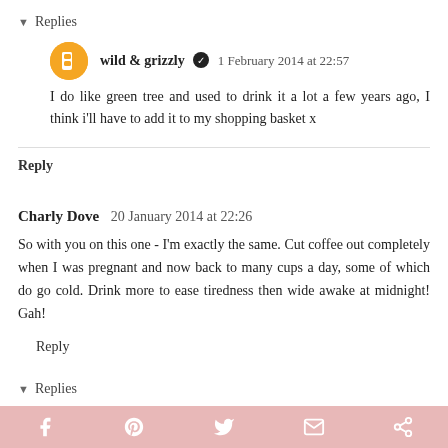▼ Replies
wild & grizzly ✔ 1 February 2014 at 22:57
I do like green tree and used to drink it a lot a few years ago, I think i'll have to add it to my shopping basket x
Reply
Charly Dove  20 January 2014 at 22:26
So with you on this one - I'm exactly the same. Cut coffee out completely when I was pregnant and now back to many cups a day, some of which do go cold. Drink more to ease tiredness then wide awake at midnight! Gah!
Reply
▼ Replies